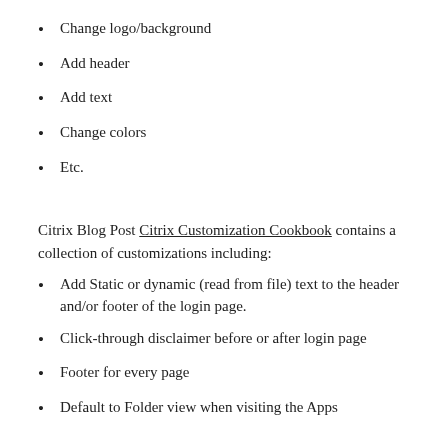Change logo/background
Add header
Add text
Change colors
Etc.
Citrix Blog Post Citrix Customization Cookbook contains a collection of customizations including:
Add Static or dynamic (read from file) text to the header and/or footer of the login page.
Click-through disclaimer before or after login page
Footer for every page
Default to Folder view when visiting the Apps